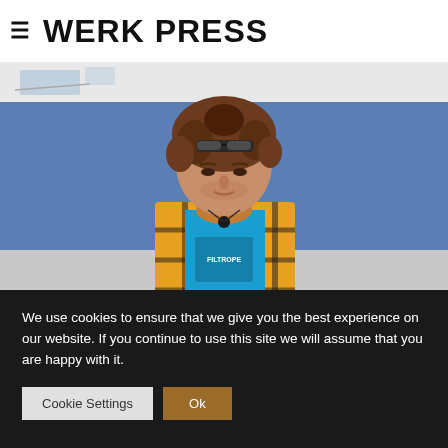WERK PRESS
[Figure (photo): Young man with curly hair and sunglasses on head, wearing a yellow plaid shirt over a blue t-shirt, sitting against a blue wall, looking down]
We use cookies to ensure that we give you the best experience on our website. If you continue to use this site we will assume that you are happy with it.
Cookie Settings   Ok